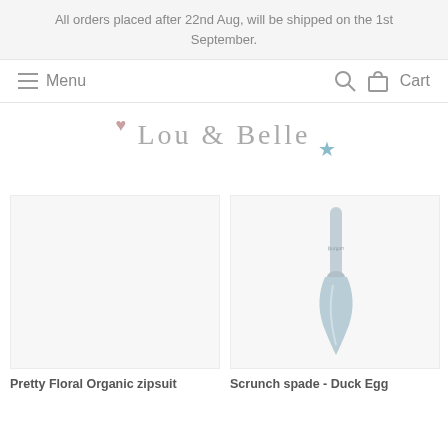All orders placed after 22nd Aug, will be shipped on the 1st September.
Menu | Search | Cart
[Figure (logo): Lou & Belle logo with pink heart and teal star decorations]
[Figure (photo): Blank/white product image placeholder for Pretty Floral Organic zipsuit]
[Figure (illustration): Pale blue-grey scrunch garden spade on white background]
Pretty Floral Organic zipsuit
Scrunch spade - Duck Egg